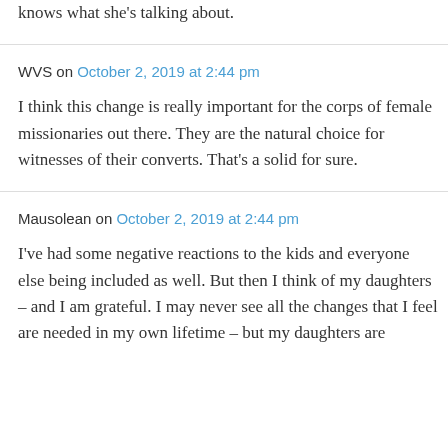knows what she's talking about.
WVS on October 2, 2019 at 2:44 pm
I think this change is really important for the corps of female missionaries out there. They are the natural choice for witnesses of their converts. That's a solid for sure.
Mausolean on October 2, 2019 at 2:44 pm
I've had some negative reactions to the kids and everyone else being included as well. But then I think of my daughters – and I am grateful. I may never see all the changes that I feel are needed in my own lifetime – but my daughters are